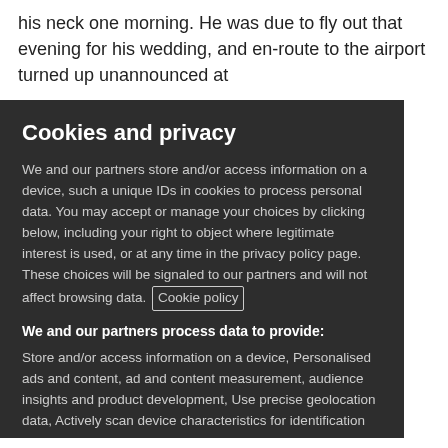his neck one morning. He was due to fly out that evening for his wedding, and en-route to the airport turned up unannounced at
Cookies and privacy
We and our partners store and/or access information on a device, such a unique IDs in cookies to process personal data. You may accept or manage your choices by clicking below, including your right to object where legitimate interest is used, or at any time in the privacy policy page. These choices will be signaled to our partners and will not affect browsing data. Cookie policy
We and our partners process data to provide:
Store and/or access information on a device, Personalised ads and content, ad and content measurement, audience insights and product development, Use precise geolocation data, Actively scan device characteristics for identification
List of Partners (vendors)
I Accept